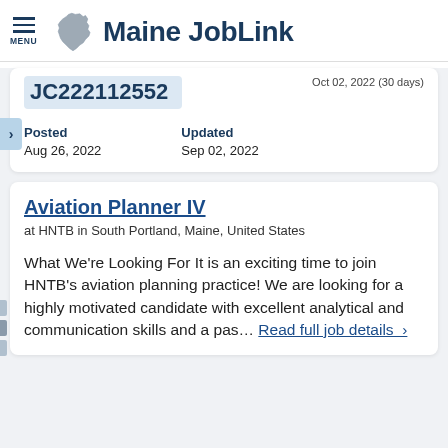Maine JobLink
Oct 02, 2022 (30 days)
JC222112552
Posted
Aug 26, 2022
Updated
Sep 02, 2022
Aviation Planner IV
at HNTB in South Portland, Maine, United States
What We're Looking For It is an exciting time to join HNTB's aviation planning practice! We are looking for a highly motivated candidate with excellent analytical and communication skills and a pas...
Read full job details  >